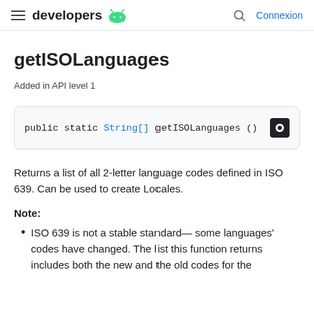developers  Connexion
getISOLanguages
Added in API level 1
public static String[] getISOLanguages ()
Returns a list of all 2-letter language codes defined in ISO 639. Can be used to create Locales.
Note:
ISO 639 is not a stable standard— some languages' codes have changed. The list this function returns includes both the new and the old codes for the